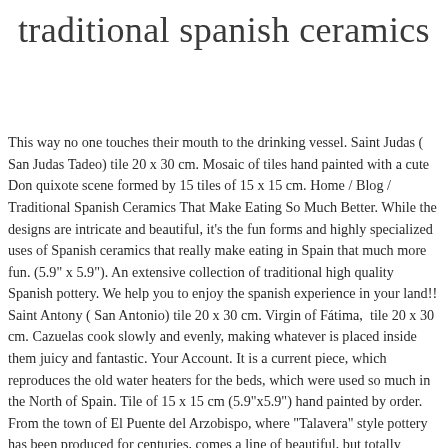traditional spanish ceramics
This way no one touches their mouth to the drinking vessel. Saint Judas ( San Judas Tadeo) tile 20 x 30 cm. Mosaic of tiles hand painted with a cute Don quixote scene formed by 15 tiles of 15 x 15 cm. Home / Blog / Traditional Spanish Ceramics That Make Eating So Much Better. While the designs are intricate and beautiful, it’s the fun forms and highly specialized uses of Spanish ceramics that really make eating in Spain that much more fun. (5.9" x 5.9"). An extensive collection of traditional high quality Spanish pottery. We help you to enjoy the spanish experience in your land!! Saint Antony ( San Antonio) tile 20 x 30 cm. Virgin of Fátima,  tile 20 x 30 cm. Cazuelas cook slowly and evenly, making whatever is placed inside them juicy and fantastic. Your Account. It is a current piece, which reproduces the old water heaters for the beds, which were used so much in the North of Spain. Tile of 15 x 15 cm (5.9"x5.9") hand painted by order. From the town of El Puente del Arzobispo, where "Talavera" style pottery has been produced for centuries, comes a line of beautiful, but totally functional pottery. Spanish ceramics’ downfall continued into the 17th century. Saint Pancras ( San Pancracio) tile 20 x 30 cm. Spanish ceramics / pottery is renowned for its bright, vibrant colours and patterns For many, this reflects the style and way of life of Spain – and especially its coasts and